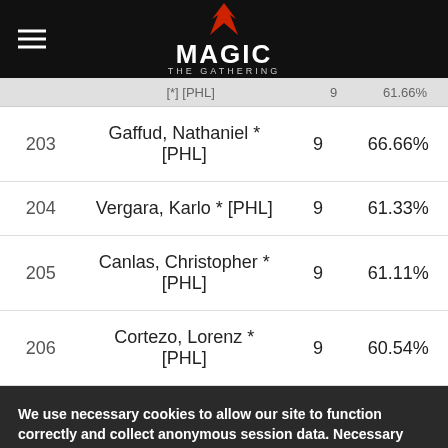[Figure (logo): Magic: The Gathering logo with red flame/claw icon on black navigation bar with hamburger menu]
| # | Name | Points | OMW% |
| --- | --- | --- | --- |
| 203 | Gaffud, Nathaniel * [PHL] | 9 | 66.66% |
| 204 | Vergara, Karlo * [PHL] | 9 | 61.33% |
| 205 | Canlas, Christopher * [PHL] | 9 | 61.11% |
| 206 | Cortezo, Lorenz * [PHL] | 9 | 60.54% |
We use necessary cookies to allow our site to function correctly and collect anonymous session data. Necessary cookies can be opted out through your browser settings. We also use optional cookies to personalize content and ads, provide social medial features and analyze web traffic. By clicking “OK, I agree,” you consent to optional cookies. (Learn more about cookies.)